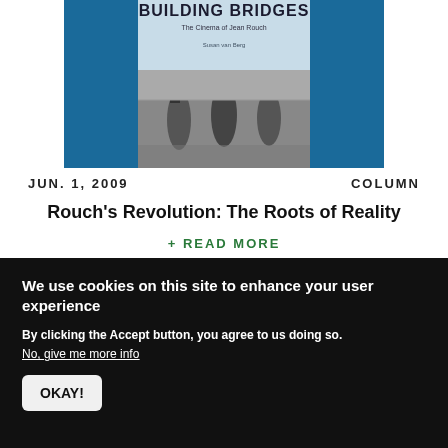[Figure (illustration): Book cover for 'Building Bridges: The Cinema of Jean Rouch' by Susan van Berg, showing a teal/blue background with the title text and a black-and-white photograph of people wading in water with photography equipment.]
JUN. 1, 2009
COLUMN
Rouch's Revolution: The Roots of Reality
+ READ MORE
We use cookies on this site to enhance your user experience
By clicking the Accept button, you agree to us doing so.
No, give me more info
OKAY!